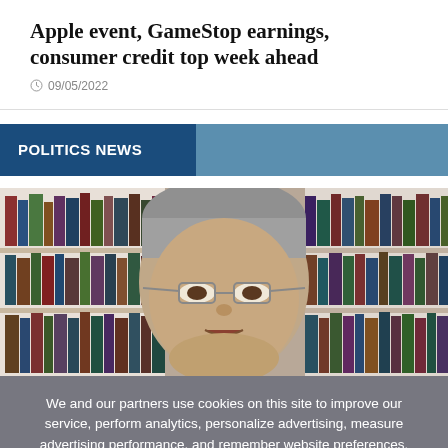Apple event, GameStop earnings, consumer credit top week ahead
09/05/2022
POLITICS NEWS
[Figure (photo): Man with grey hair and glasses in front of a bookshelf with many books]
We and our partners use cookies on this site to improve our service, perform analytics, personalize advertising, measure advertising performance, and remember website preferences.
Ok